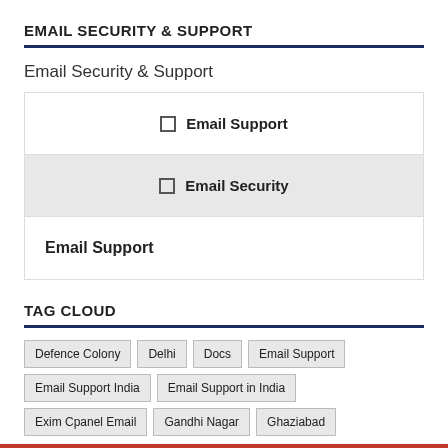EMAIL SECURITY & SUPPORT
Email Security & Support
Email Support
Email Security
Email Support
TAG CLOUD
Defence Colony
Delhi
Docs
Email Support
Email Support India
Email Support in India
Exim Cpanel Email
Gandhi Nagar
Ghaziabad